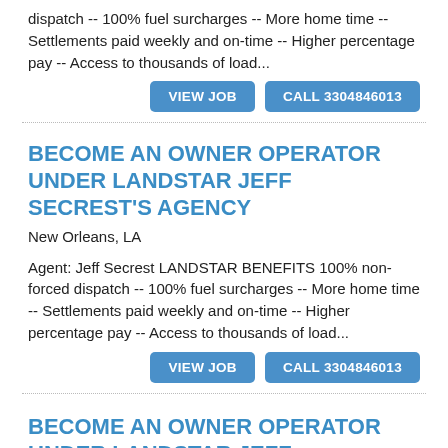dispatch -- 100% fuel surcharges -- More home time -- Settlements paid weekly and on-time -- Higher percentage pay -- Access to thousands of load...
VIEW JOB   CALL 3304846013
BECOME AN OWNER OPERATOR UNDER LANDSTAR JEFF SECREST'S AGENCY
New Orleans, LA
Agent: Jeff Secrest LANDSTAR BENEFITS 100% non-forced dispatch -- 100% fuel surcharges -- More home time -- Settlements paid weekly and on-time -- Higher percentage pay -- Access to thousands of load...
VIEW JOB   CALL 3304846013
BECOME AN OWNER OPERATOR UNDER LANDSTAR JEFF SECREST'S AGENCY
New Orleans, LA